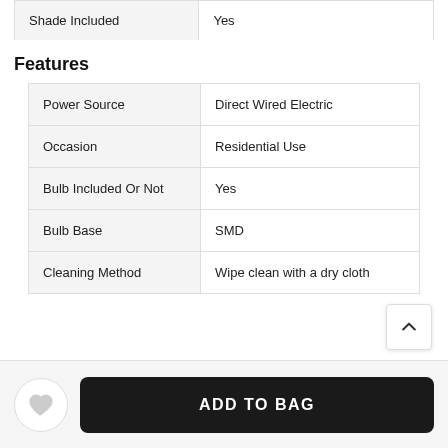| Attribute | Value |
| --- | --- |
| Shade Included | Yes |
Features
| Attribute | Value |
| --- | --- |
| Power Source | Direct Wired Electric |
| Occasion | Residential Use |
| Bulb Included Or Not | Yes |
| Bulb Base | SMD |
| Cleaning Method | Wipe clean with a dry cloth |